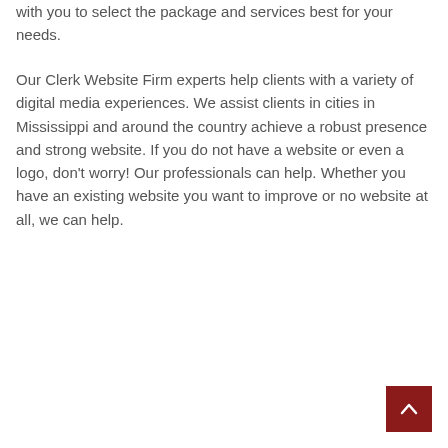with you to select the package and services best for your needs.
Our Clerk Website Firm experts help clients with a variety of digital media experiences. We assist clients in cities in Mississippi and around the country achieve a robust presence and strong website. If you do not have a website or even a logo, don't worry! Our professionals can help. Whether you have an existing website you want to improve or no website at all, we can help.